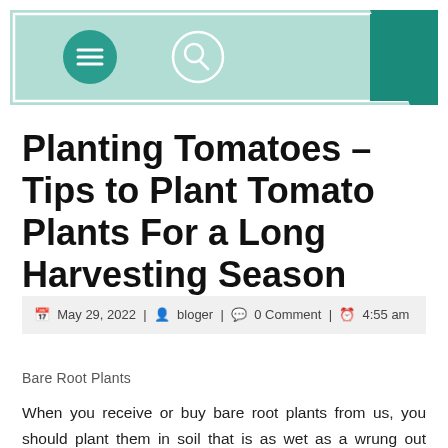[Figure (other): Website navigation header bar with teal/mint background, white border overlay, a dark teal circular menu (hamburger) button, a white-outlined circular search button with magnifying glass icon, and a teal decorative angular shape on the right side.]
Planting Tomatoes – Tips to Plant Tomato Plants For a Long Harvesting Season
May 29, 2022 | bloger | 0 Comment | 4:55 am
Bare Root Plants
When you receive or buy bare root plants from us, you should plant them in soil that is as wet as a wrung out sponge. Water the soil well, and make sure the roots are tightly packed in with soil. You should also mulch